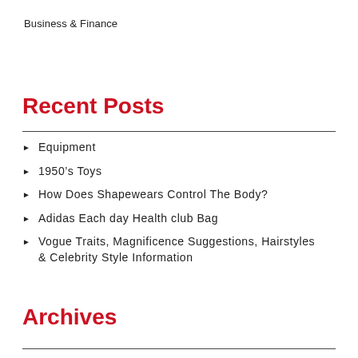Business & Finance
Recent Posts
Equipment
1950's Toys
How Does Shapewears Control The Body?
Adidas Each day Health club Bag
Vogue Traits, Magnificence Suggestions, Hairstyles & Celebrity Style Information
Archives